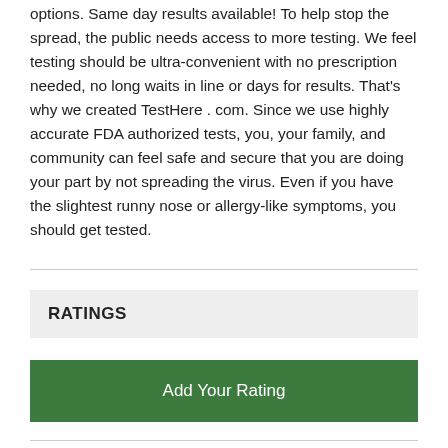options. Same day results available! To help stop the spread, the public needs access to more testing. We feel testing should be ultra-convenient with no prescription needed, no long waits in line or days for results. That's why we created TestHere . com. Since we use highly accurate FDA authorized tests, you, your family, and community can feel safe and secure that you are doing your part by not spreading the virus. Even if you have the slightest runny nose or allergy-like symptoms, you should get tested.
RATINGS
Add Your Rating